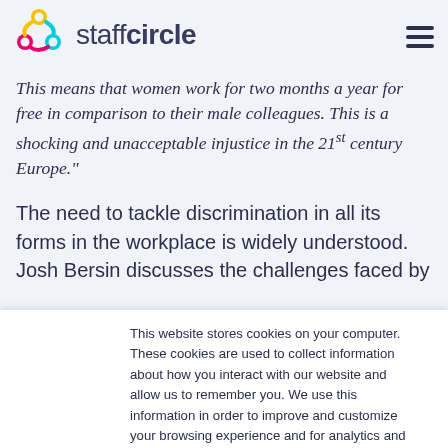[Figure (logo): StaffCircle logo with circular icon in yellow, pink, and blue, and text 'staffcircle' with hamburger menu icon on the right]
This means that women work for two months a year for free in comparison to their male colleagues. This is a shocking and unacceptable injustice in the 21st century Europe."
The need to tackle discrimination in all its forms in the workplace is widely understood. Josh Bersin discusses the challenges faced by
This website stores cookies on your computer. These cookies are used to collect information about how you interact with our website and allow us to remember you. We use this information in order to improve and customize your browsing experience and for analytics and metrics about our visitors both on this website and other media. To find out more about the cookies we use, see our Privacy Policy.
Accept